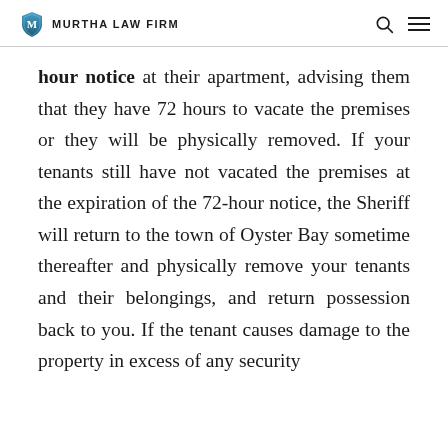MURTHA LAW FIRM
hour notice at their apartment, advising them that they have 72 hours to vacate the premises or they will be physically removed. If your tenants still have not vacated the premises at the expiration of the 72-hour notice, the Sheriff will return to the town of Oyster Bay sometime thereafter and physically remove your tenants and their belongings, and return possession back to you. If the tenant causes damage to the property in excess of any security